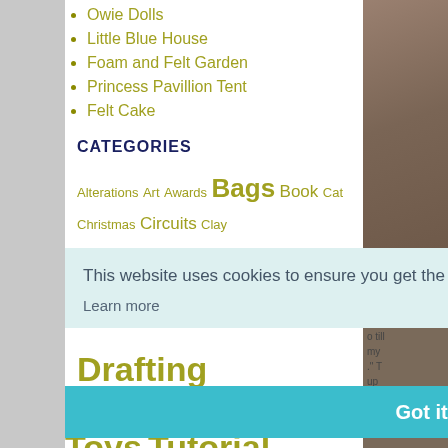Owie Dolls
Little Blue House
Foam and Felt Garden
Princess Pavillion Tent
Felt Cake
CATEGORIES
Alterations Art Awards Bags Book Cat Christmas Circuits Clay Clothes Costumes Crochet Culture Drafting Fabric...
This website uses cookies to ensure you get the best experience on our website. Learn more
Got it!
Toys Tutorial Verse Wood Zip